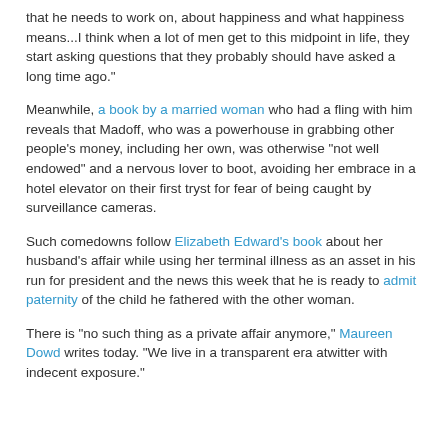that he needs to work on, about happiness and what happiness means...I think when a lot of men get to this midpoint in life, they start asking questions that they probably should have asked a long time ago."
Meanwhile, a book by a married woman who had a fling with him reveals that Madoff, who was a powerhouse in grabbing other people's money, including her own, was otherwise "not well endowed" and a nervous lover to boot, avoiding her embrace in a hotel elevator on their first tryst for fear of being caught by surveillance cameras.
Such comedowns follow Elizabeth Edward's book about her husband's affair while using her terminal illness as an asset in his run for president and the news this week that he is ready to admit paternity of the child he fathered with the other woman.
There is "no such thing as a private affair anymore," Maureen Dowd writes today. "We live in a transparent era atwitter with indecent exposure."